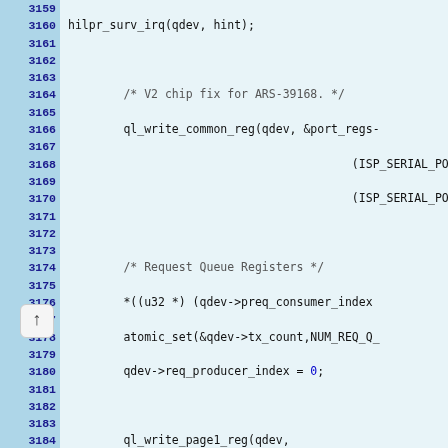[Figure (screenshot): Source code viewer showing C code lines 3159-3189, with line numbers highlighted in blue on the left and code on a light blue background. Code includes ql_write_common_reg, ql_write_page1_reg calls, request and response queue register setup, and atomic operations.]